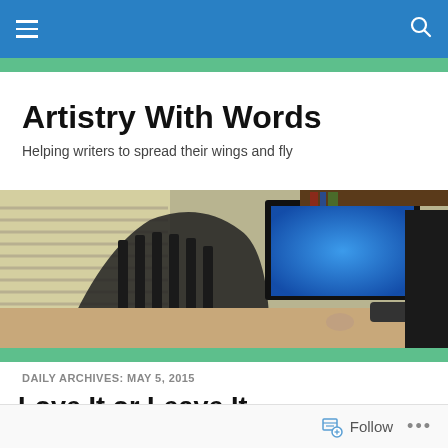Navigation bar with hamburger menu and search icon
Artistry With Words
Helping writers to spread their wings and fly
[Figure (photo): Interior photo of a home desk setup with a dark wood chair, computer monitor with blue glow, papers, and window blinds in background]
DAILY ARCHIVES: MAY 5, 2015
Love It or Leave It
[Figure (photo): Partial thumbnail strip of a colorful nature or garden image]
Follow  •••